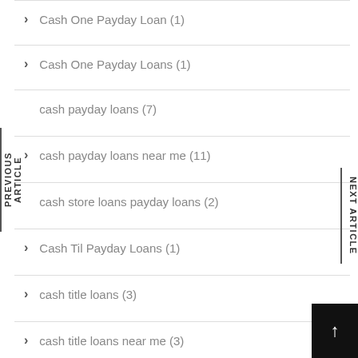Cash One Payday Loan (1)
Cash One Payday Loans (1)
cash payday loans (7)
cash payday loans near me (11)
cash store loans payday loans (2)
Cash Til Payday Loans (1)
cash title loans (3)
cash title loans near me (3)